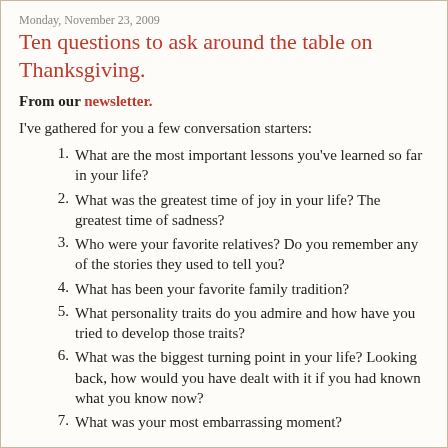Monday, November 23, 2009
Ten questions to ask around the table on Thanksgiving.
From our newsletter.
I've gathered for you a few conversation starters:
What are the most important lessons you've learned so far in your life?
What was the greatest time of joy in your life? The greatest time of sadness?
Who were your favorite relatives? Do you remember any of the stories they used to tell you?
What has been your favorite family tradition?
What personality traits do you admire and how have you tried to develop those traits?
What was the biggest turning point in your life? Looking back, how would you have dealt with it if you had known what you know now?
What was your most embarrassing moment?